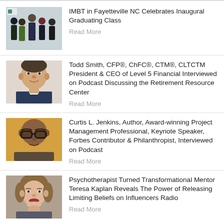[Figure (photo): Group photo of people in formal attire, appears to be a graduation or professional event]
IMBT in Fayetteville NC Celebrates Inaugural Graduating Class
Read More
[Figure (photo): Headshot of Todd Smith, a man in a suit smiling]
Todd Smith, CFP®, ChFC®, CTM®, CLTCTM President & CEO of Level 5 Financial Interviewed on Podcast Discussing the Retirement Resource Center
Read More
[Figure (photo): Headshot of Curtis L. Jenkins, a man wearing glasses against an orange/yellow background]
Curtis L. Jenkins, Author, Award-winning Project Management Professional, Keynote Speaker, Forbes Contributor & Philanthropist, Interviewed on Podcast
Read More
[Figure (photo): Photo of Teresa Kaplan, a woman with long hair smiling]
Psychotherapist Turned Transformational Mentor Teresa Kaplan Reveals The Power of Releasing Limiting Beliefs on Influencers Radio
Read More